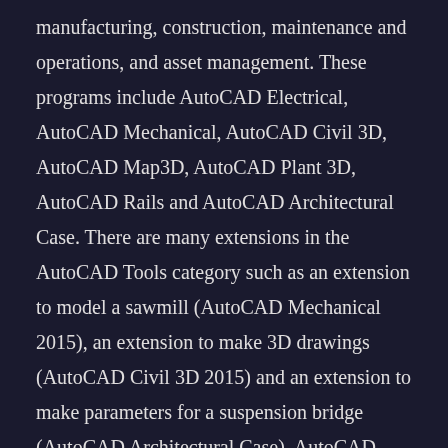manufacturing, construction, maintenance and operations, and asset management. These programs include AutoCAD Electrical, AutoCAD Mechanical, AutoCAD Civil 3D, AutoCAD Map3D, AutoCAD Plant 3D, AutoCAD Rails and AutoCAD Architectural Case. There are many extensions in the AutoCAD Tools category such as an extension to model a sawmill (AutoCAD Mechanical 2015), an extension to make 3D drawings (AutoCAD Civil 3D 2015) and an extension to make parameters for a suspension bridge (AutoCAD Architectural Case). AutoCAD created these products to complement their core product line, which makes AutoCAD a leading CAD/CAM package. Customization AutoCAD supports users who want to customize its interface for ease of use. Its customization is similar to that of